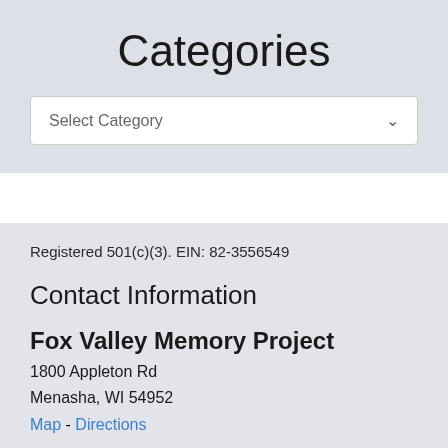Categories
Select Category
Registered 501(c)(3). EIN: 82-3556549
Contact Information
Fox Valley Memory Project
1800 Appleton Rd
Menasha, WI 54952
Map - Directions